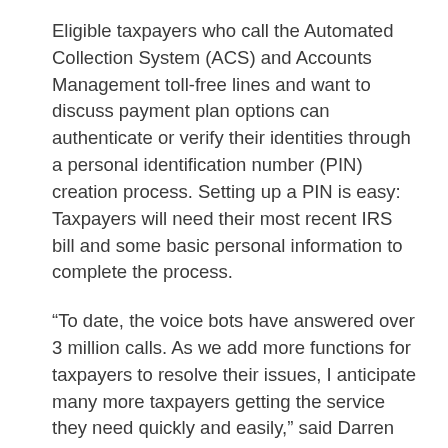Eligible taxpayers who call the Automated Collection System (ACS) and Accounts Management toll-free lines and want to discuss payment plan options can authenticate or verify their identities through a personal identification number (PIN) creation process. Setting up a PIN is easy: Taxpayers will need their most recent IRS bill and some basic personal information to complete the process.
“To date, the voice bots have answered over 3 million calls. As we add more functions for taxpayers to resolve their issues, I anticipate many more taxpayers getting the service they need quickly and easily,” said Darren Guillot, IRS Deputy Commissioner of Small Business/Self Employed Collection & Operations Support.
Additional voice bot service enhancements are planned in